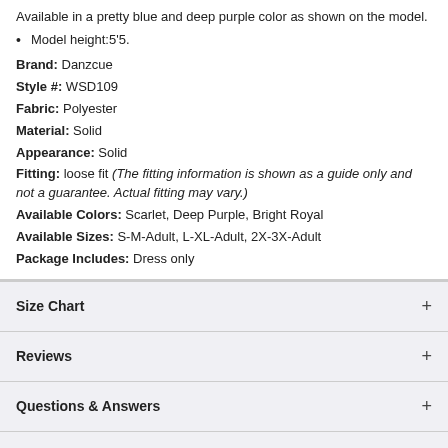Available in a pretty blue and deep purple color as shown on the model.
Model height:5'5.
Brand: Danzcue
Style #: WSD109
Fabric: Polyester
Material: Solid
Appearance: Solid
Fitting: loose fit (The fitting information is shown as a guide only and not a guarantee. Actual fitting may vary.)
Available Colors: Scarlet, Deep Purple, Bright Royal
Available Sizes: S-M-Adult, L-XL-Adult, 2X-3X-Adult
Package Includes: Dress only
Size Chart
Reviews
Questions & Answers
Liturgical Dance Color Significance
Write a review